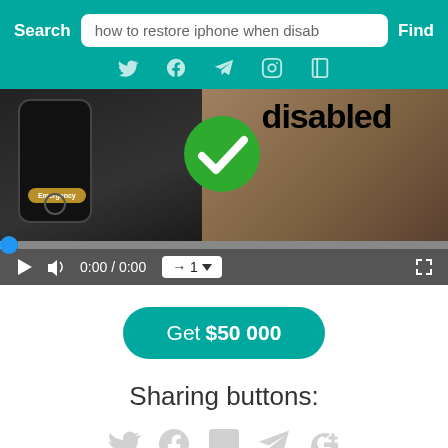[Figure (screenshot): Website header with teal background showing Search label, search input with 'how to restore iphone when disab', Find button, and social media icons (Twitter, Facebook, Telegram, Instagram, and another icon)]
[Figure (screenshot): Video thumbnail showing a disabled iPhone with Emergency button and a green checkmark circle over the word 'disabled', with video player controls showing 0:00/0:00 and speed button '→ 1']
[Figure (screenshot): Teal rounded button with text 'Get $50 000']
Sharing buttons:
[Figure (screenshot): Row of faded social sharing icons: Twitter, Facebook, WhatsApp/chat, Telegram, Google+]